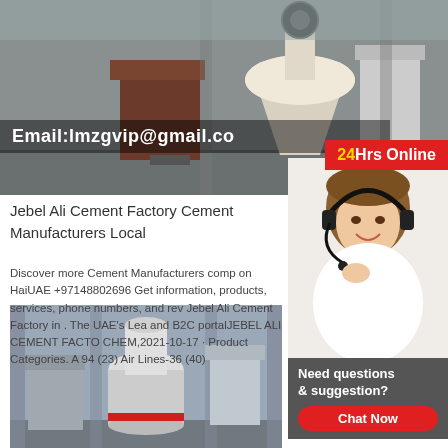[Figure (photo): Industrial machinery / cement plant equipment in a factory setting with white and brown equipment visible]
Email:lmzgvip@gmail.co
[Figure (photo): 24Hrs Online badge with headset woman customer service representative smiling]
Jebel Ali Cement Factory Cement Manufacturers Local
Discover more Cement Manufacturers comp on HaiUAE +97148802696 Get information, products, services, phone numbers, and rev Jebel Ali Cement Factory in . The UAE's Lea and B2C portalJEBEL ALI CEMENT FACTO CHEM,2021-10-17 · Product Categories. A 94 (23) Air Lines-36 (40)
[Figure (photo): Industrial cement plant machinery - bottom image showing white cylindrical equipment and red/white machinery]
Need questions & suggestion?
Chat Now